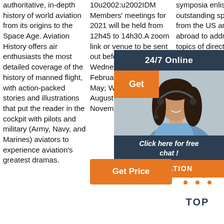authoritative, in-depth history of world aviation from its origins to the Space Age. Aviation History offers air enthusiasts the most detailed coverage of the history of manned flight, with action-packed stories and illustrations that put the reader in the cockpit with pilots and military (Army, Navy, and Marines) aviators to experience aviation's greatest dramas.
10u2002:u2002IDM Members' meetings for 2021 will be held from 12h45 to 14h30.A zoom link or venue to be sent out before the time.. Wednesday 10 February; Wednesday 5 May; Wednesday 4 August; Wednesday 3 November
symposia enlist outstanding speakers from the US and abroad to address topics of direct relevance to translation science and more
[Figure (photo): Advertisement panel with dark blue background, photo of smiling woman with headset, orange Get button, 24/7 Online text, Click here for free chat italic text, and orange QUOTATION button]
[Figure (logo): TOP logo with dotted triangle/caret above the word TOP in dark blue letters]
Get Price
Get